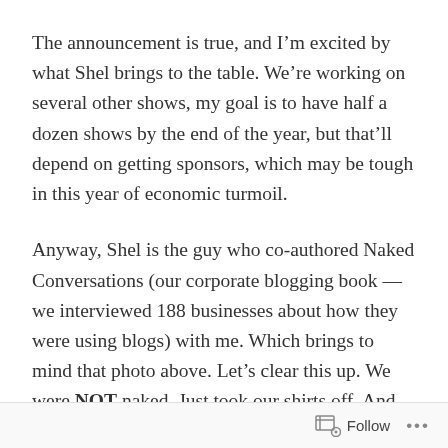The announcement is true, and I'm excited by what Shel brings to the table. We're working on several other shows, my goal is to have half a dozen shows by the end of the year, but that'll depend on getting sponsors, which may be tough in this year of economic turmoil.
Anyway, Shel is the guy who co-authored Naked Conversations (our corporate blogging book — we interviewed 188 businesses about how they were using blogs) with me. Which brings to mind that photo above. Let's clear this up. We were NOT naked. Just took our shirts off. And that photo was taken in Mike Arrington's backyard during a TechCrunch party
Follow ···